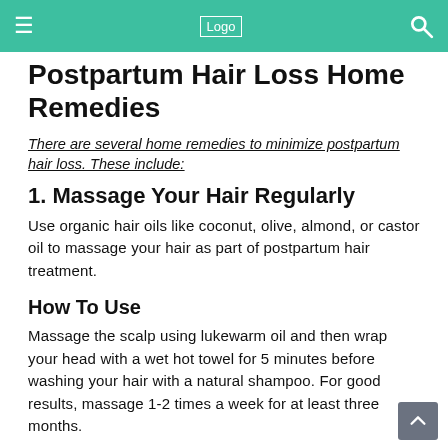Logo
Postpartum Hair Loss Home Remedies
There are several home remedies to minimize postpartum hair loss. These include:
1. Massage Your Hair Regularly
Use organic hair oils like coconut, olive, almond, or castor oil to massage your hair as part of postpartum hair treatment.
How To Use
Massage the scalp using lukewarm oil and then wrap your head with a wet hot towel for 5 minutes before washing your hair with a natural shampoo. For good results, massage 1-2 times a week for at least three months.